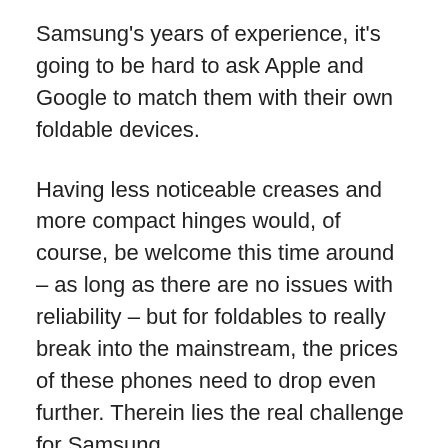Samsung's years of experience, it's going to be hard to ask Apple and Google to match them with their own foldable devices.
Having less noticeable creases and more compact hinges would, of course, be welcome this time around – as long as there are no issues with reliability – but for foldables to really break into the mainstream, the prices of these phones need to drop even further. Therein lies the real challenge for Samsung.
If you can't wait another two months to see these phones for real, you might be interested in all the leaks and rumors we've heard so far: